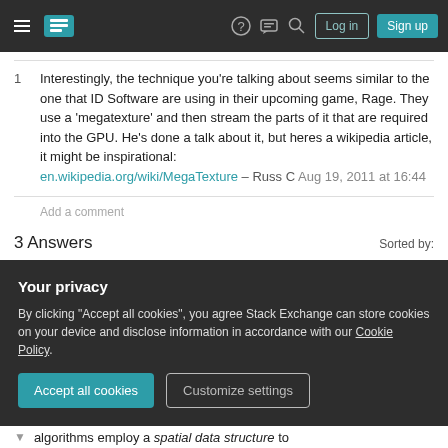Stack Exchange navigation bar with hamburger, logo, help, chat, search icons, Log in and Sign up buttons
1  Interestingly, the technique you're talking about seems similar to the one that ID Software are using in their upcoming game, Rage. They use a 'megatexture' and then stream the parts of it that are required into the GPU. He's done a talk about it, but heres a wikipedia article, it might be inspirational: en.wikipedia.org/wiki/MegaTexture – Russ C  Aug 19, 2011 at 16:44
Add a comment
3 Answers
Sorted by:
Your privacy
By clicking "Accept all cookies", you agree Stack Exchange can store cookies on your device and disclose information in accordance with our Cookie Policy.
Accept all cookies   Customize settings
algorithms employ a spatial data structure to